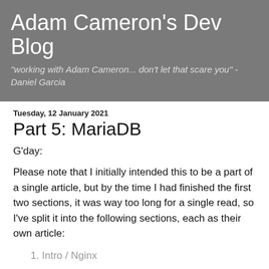Adam Cameron's Dev Blog
"working with Adam Cameron... don't let that scare you" - Daniel Garcia
Tuesday, 12 January 2021
Part 5: MariaDB
G'day:
Please note that I initially intended this to be a part of a single article, but by the time I had finished the first two sections, it was way too long for a single read, so I've split it into the following sections, each as their own article:
Intro / Nginx
PHP
PHPUnit
Tweaks I made to my Bash environment in my Docker